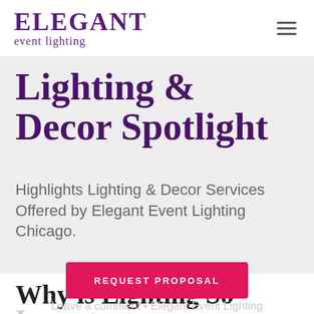ELEGANT event lighting
Lighting & Decor Spotlight
Highlights Lighting & Decor Services Offered by Elegant Event Lighting Chicago.
Why is Lighting So Important
Leave a comment • Elegant Event Lighting
REQUEST PROPOSAL